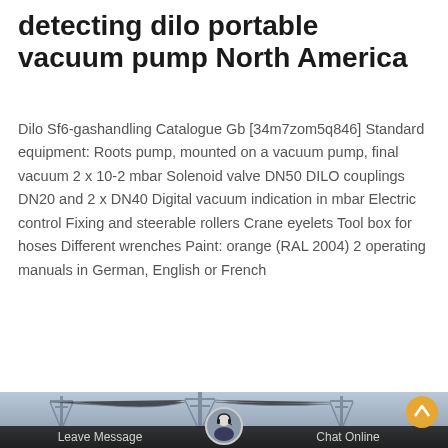detecting dilo portable vacuum pump North America
Dilo Sf6-gashandling Catalogue Gb [34m7zom5q846] Standard equipment: Roots pump, mounted on a vacuum pump, final vacuum 2 x 10-2 mbar Solenoid valve DN50 DILO couplings DN20 and 2 x DN40 Digital vacuum indication in mbar Electric control Fixing and steerable rollers Crane eyelets Tool box for hoses Different wrenches Paint: orange (RAL 2004) 2 operating manuals in German, English or French
[Figure (other): Orange button labeled Get Price]
[Figure (photo): Background photo of power transmission lines/towers with a customer service representative avatar overlay, dark footer bar with Leave Message and Chat Online options, and an orange scroll-up button]